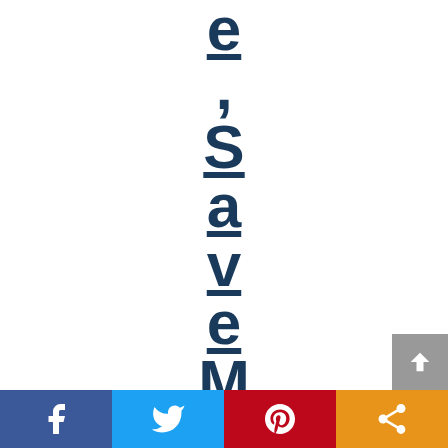e ,SaveMoney.
[Figure (other): Social sharing bar at bottom with Facebook, Twitter, Pinterest, and Share buttons, plus a scroll-to-top arrow button]